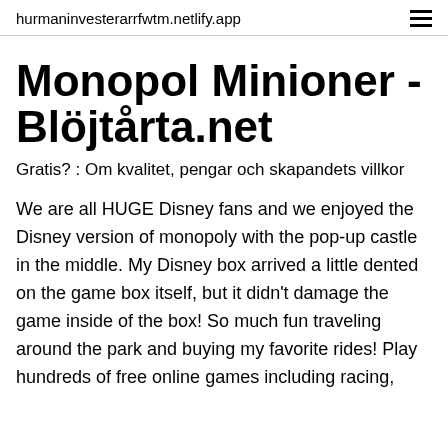hurmaninvesterarrfwtm.netlify.app
Monopol Minioner - Blöjtårta.net
Gratis? : Om kvalitet, pengar och skapandets villkor
We are all HUGE Disney fans and we enjoyed the Disney version of monopoly with the pop-up castle in the middle. My Disney box arrived a little dented on the game box itself, but it didn't damage the game inside of the box! So much fun traveling around the park and buying my favorite rides! Play hundreds of free online games including racing,